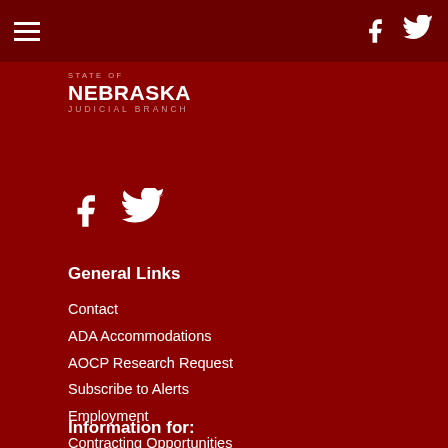Nebraska Judicial Branch navigation bar with hamburger menu and social icons
[Figure (logo): State of Nebraska Judicial Branch logo - white text on dark red background]
[Figure (illustration): Facebook and Twitter social media icons in white]
General Links
Contact
ADA Accommodations
AOCP Research Request
Subscribe to Alerts
Employment
Contracting Opportunities
Privacy Policy
Information for:
Branch Overview